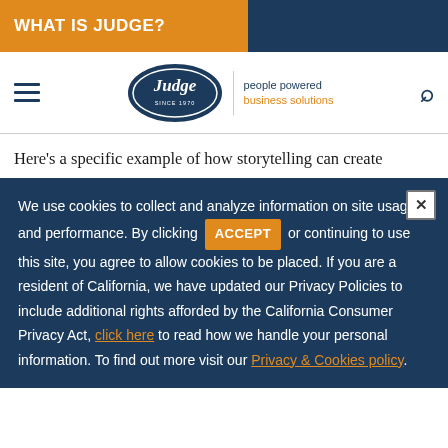WHAT IS JUDGE?
[Figure (logo): Judge group logo with oval design and tagline 'people powered business solutions']
Here’s a specific example of how storytelling can create
We use cookies to collect and analyze information on site usage and performance. By clicking ACCEPT or continuing to use this site, you agree to allow cookies to be placed. If you are a resident of California, we have updated our Privacy Policies to include additional rights afforded by the California Consumer Privacy Act, click here to read how we handle your personal information. To find out more visit our Privacy & Cookies policy.